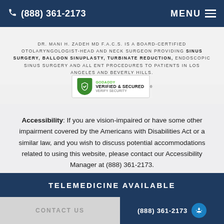(888) 361-2173  MENU
DR. MANI H. ZADEH MD F.A.C.S. IS A BOARD-CERTIFIED OTOLARYNGOLOGIST-HEAD AND NECK SURGEON PROVIDING SINUS SURGERY, BALLOON SINUPLASTY, TURBINATE REDUCTION, ENDOSCOPIC SINUS SURGERY AND ALL ENT PROCEDURES TO PATIENTS IN LOS ANGELES AND BEVERLY HILLS.
[Figure (logo): GoDaddy Verified & Secured badge with green shield and lock icon]
Accessibility: If you are vision-impaired or have some other impairment covered by the Americans with Disabilities Act or a similar law, and you wish to discuss potential accommodations related to using this website, please contact our Accessibility Manager at (888) 361-2173.
TELEMEDICINE AVAILABLE
CONTACT US  (888) 361-2173